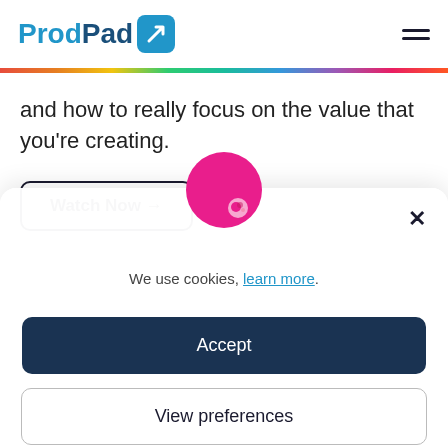ProdPad
and how to really focus on the value that you're creating.
Watch Now →
We use cookies, learn more.
Accept
View preferences